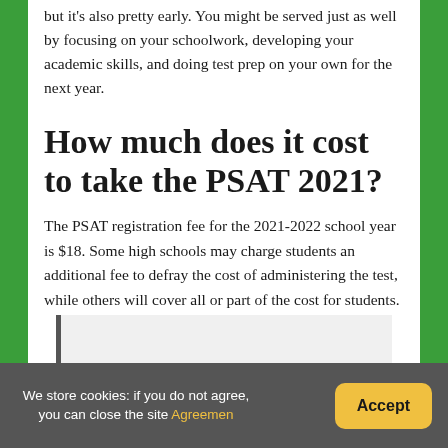but it's also pretty early. You might be served just as well by focusing on your schoolwork, developing your academic skills, and doing test prep on your own for the next year.
How much does it cost to take the PSAT 2021?
The PSAT registration fee for the 2021-2022 school year is $18. Some high schools may charge students an additional fee to defray the cost of administering the test, while others will cover all or part of the cost for students.